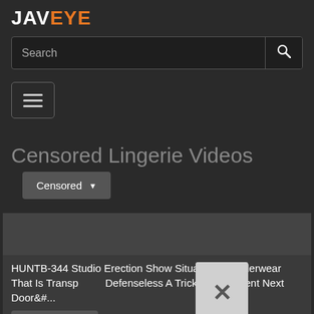JAVEYE
Search
[Figure (screenshot): Hamburger menu button with three horizontal lines]
Censored Lingerie Videos
Censored
HUNTB-344 Studio Erection Show Situation Is Underwear That Is Transparent Defenseless A Trick? The Patient Next Door&#...
Play trailer
1006